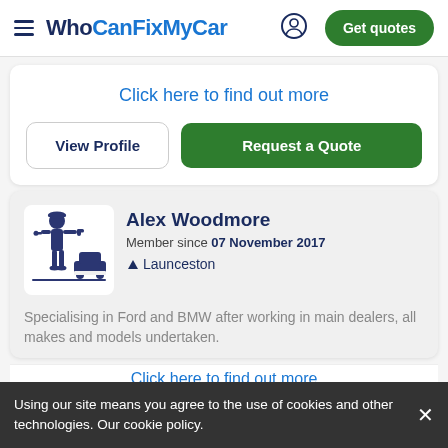WhoCanFixMyCar — Get quotes
Click here to find out more
View Profile | Request a Quote
Alex Woodmore
Member since 07 November 2017
Launceston
Specialising in Ford and BMW after working in main dealers, all makes and models undertaken.
Click here to find out more
Using our site means you agree to the use of cookies and other technologies. Our cookie policy.